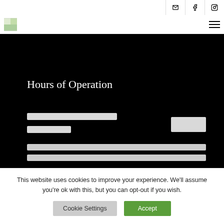Social icons: email, facebook, instagram
[Figure (logo): Site logo top left]
Hours of Operation
[Figure (other): Loading skeleton bars showing content placeholders on black background]
This website uses cookies to improve your experience. We'll assume you're ok with this, but you can opt-out if you wish.
Cookie Settings  Accept